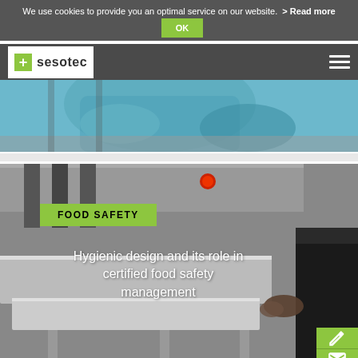We use cookies to provide you an optimal service on our website.  > Read more  OK
[Figure (screenshot): Sesotec company logo - white box with green plus sign and 'sesotec' text in dark letters, on dark gray navigation bar with hamburger menu icon on right]
[Figure (photo): Person in blue protective clothing working at industrial machinery - cropped/partial view]
[Figure (photo): Industrial food safety inspection machine (metal detector/x-ray conveyor system), person in dark clothing on right side. Green 'FOOD SAFETY' label overlaid in center. White text overlay reads: 'Hygienic design and its role in certified food safety management']
FOOD SAFETY
Hygienic design and its role in certified food safety management